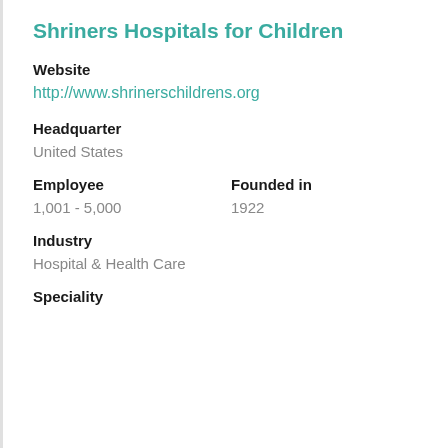Shriners Hospitals for Children
Website
http://www.shrinerschildrens.org
Headquarter
United States
Employee
1,001 - 5,000
Founded in
1922
Industry
Hospital & Health Care
Speciality